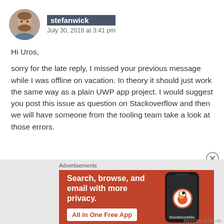[Figure (photo): Circular avatar photo of a man with a beard and short hair, smiling.]
stefanwick
July 30, 2018 at 3:41 pm
Hi Uros,
sorry for the late reply, I missed your previous message while I was offline on vacation. In theory it should just work the same way as a plain UWP app project. I would suggest you post this issue as question on Stackoverflow and then we will have someone from the tooling team take a look at those errors.
Advertisements
[Figure (illustration): DuckDuckGo advertisement banner with orange background. Left side shows bold white text: 'Search, browse, and email with more privacy.' with a white button 'All in One Free App'. Right side shows a dark smartphone with DuckDuckGo logo and 'DuckDuckGo.' text.]